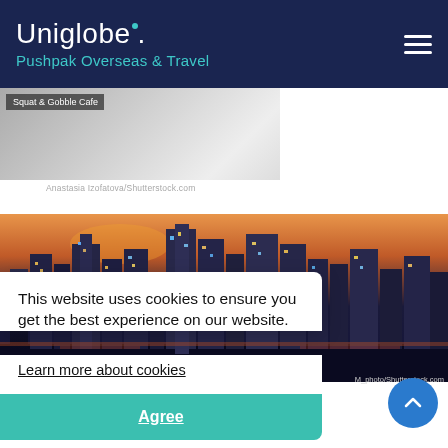Uniglobe. Pushpak Overseas & Travel
[Figure (screenshot): Partial image of Squat & Gobble Cafe with dark overlay]
Anastasia Izofatova/Shutterstock.com
[Figure (photo): City skyline at sunset/dusk with tall illuminated buildings and orange sky]
M_photo/Shutterstock.com
This website uses cookies to ensure you get the best experience on our website.
Learn more about cookies
Agree
Bars & Nightlife